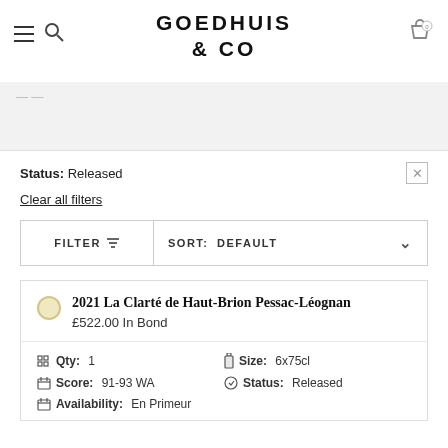GOEDHUIS & CO
Status: Released
Clear all filters
FILTER   SORT: DEFAULT
2021 La Clarté de Haut-Brion Pessac-Léognan
£522.00 In Bond
Qty: 1   Size: 6x75cl   Score: 91-93 WA   Status: Released   Availability: En Primeur